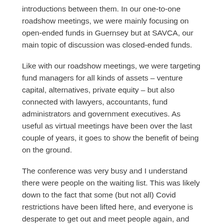introductions between them. In our one-to-one roadshow meetings, we were mainly focusing on open-ended funds in Guernsey but at SAVCA, our main topic of discussion was closed-ended funds.
Like with our roadshow meetings, we were targeting fund managers for all kinds of assets – venture capital, alternatives, private equity – but also connected with lawyers, accountants, fund administrators and government executives. As useful as virtual meetings have been over the last couple of years, it goes to show the benefit of being on the ground.
The conference was very busy and I understand there were people on the waiting list. This was likely down to the fact that some (but not all) Covid restrictions have been lifted here, and everyone is desperate to get out and meet people again, and venues are perhaps still building up to full capacity.
One of the key topics of the event was ESG. South Africa is ahead on the social and governance aspects